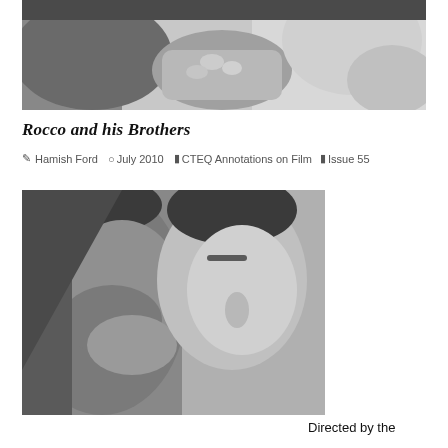[Figure (photo): Black and white close-up photo of two faces and hands, partial view]
Rocco and his Brothers
Hamish Ford   July 2010   CTEQ Annotations on Film   Issue 55
[Figure (photo): Black and white photo of two young men facing each other closely, one with hand raised to mouth]
Directed by the